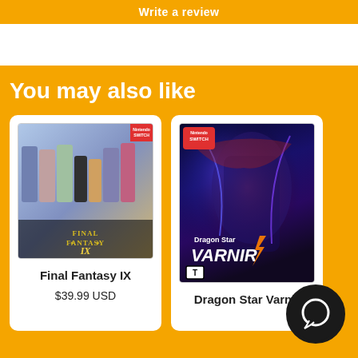Write a review
You may also like
[Figure (photo): Final Fantasy IX Nintendo Switch game cover art showing multiple characters]
Final Fantasy IX
$39.99 USD
[Figure (photo): Dragon Star Varnir Nintendo Switch game cover art with anime characters on a dark blue/purple fantasy background]
Dragon Star Varnir